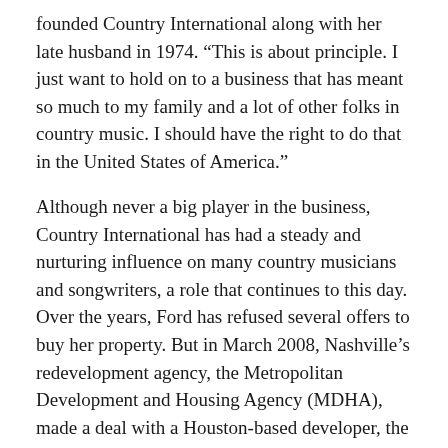founded Country International along with her late husband in 1974. “This is about principle. I just want to hold on to a business that has meant so much to my family and a lot of other folks in country music. I should have the right to do that in the United States of America.”
Although never a big player in the business, Country International has had a steady and nurturing influence on many country musicians and songwriters, a role that continues to this day. Over the years, Ford has refused several offers to buy her property. But in March 2008, Nashville’s redevelopment agency, the Metropolitan Development and Housing Agency (MDHA), made a deal with a Houston-based developer, the Lionstone Group, to acquire Ford’s property to put up an office tower.